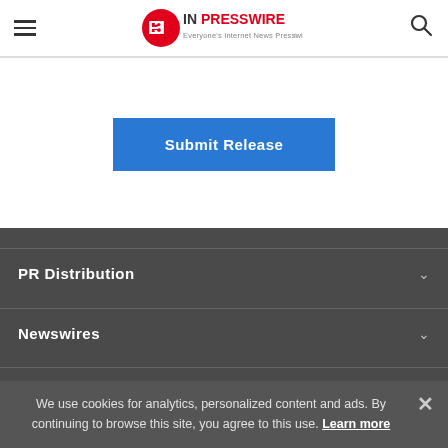EIN Presswire — Everyone's Internet News Presswire
Submit Release
PR Distribution
Newswires
Press Releases
We use cookies for analytics, personalized content and ads. By continuing to browse this site, you agree to this use. Learn more